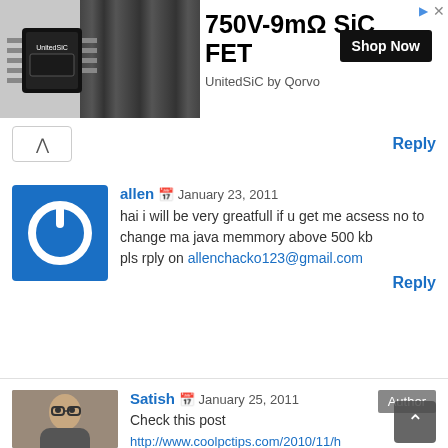[Figure (screenshot): Advertisement banner for 750V-9mΩ SiC FET by UnitedSiC by Qorvo with Shop Now button]
^ Reply
[Figure (illustration): Blue square avatar with white power button icon for user 'allen']
allen 📅 January 23, 2011
hai i will be very greatfull if u get me acsess no to change ma java memmory above 500 kb
pls rply on allenchacko123@gmail.com
Reply
[Figure (photo): Photo of Satish — a man with glasses]
Author
Satish 📅 January 25, 2011
Check this post
http://www.coolpctips.com/2010/11/h to-bypass-the-max-jar-files-in-samsung-